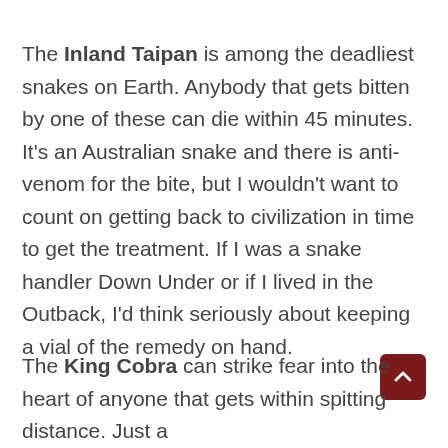The Inland Taipan is among the deadliest snakes on Earth. Anybody that gets bitten by one of these can die within 45 minutes. It's an Australian snake and there is anti-venom for the bite, but I wouldn't want to count on getting back to civilization in time to get the treatment. If I was a snake handler Down Under or if I lived in the Outback, I'd think seriously about keeping a vial of the remedy on hand.
The King Cobra can strike fear into the heart of anyone that gets within spitting distance. Just a